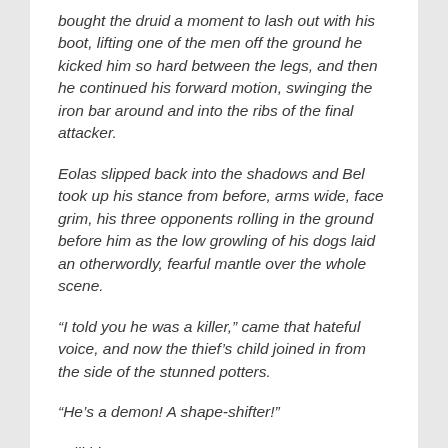bought the druid a moment to lash out with his boot, lifting one of the men off the ground he kicked him so hard between the legs, and then he continued his forward motion, swinging the iron bar around and into the ribs of the final attacker.
Eolas slipped back into the shadows and Bel took up his stance from before, arms wide, face grim, his three opponents rolling in the ground before him as the low growling of his dogs laid an otherwordly, fearful mantle over the whole scene.
“I told you he was a killer,” came that hateful voice, and now the thief’s child joined in from the side of the stunned potters.
“He’s a demon! A shape-shifter!”
“Kill him!”